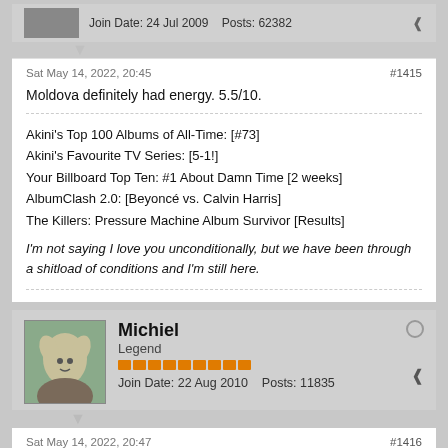Join Date: 24 Jul 2009   Posts: 62382
Sat May 14, 2022, 20:45   #1415
Moldova definitely had energy. 5.5/10.
Akini's Top 100 Albums of All-Time: [#73]
Akini's Favourite TV Series: [5-1!]
Your Billboard Top Ten: #1 About Damn Time [2 weeks]
AlbumClash 2.0: [Beyoncé vs. Calvin Harris]
The Killers: Pressure Machine Album Survivor [Results]
I'm not saying I love you unconditionally, but we have been through a shitload of conditions and I'm still here.
Michiel
Legend
Join Date: 22 Aug 2010   Posts: 11835
Sat May 14, 2022, 20:47   #1416
Never got into Sweden sadly. Hope it doesn't win.